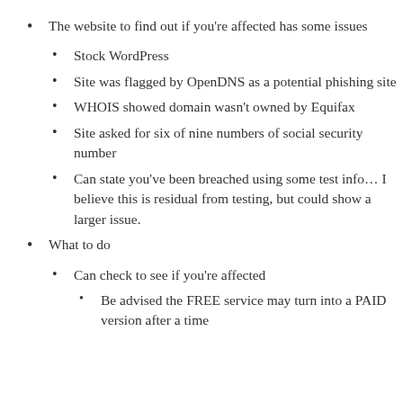The website to find out if you're affected has some issues
Stock WordPress
Site was flagged by OpenDNS as a potential phishing site
WHOIS showed domain wasn't owned by Equifax
Site asked for six of nine numbers of social security number
Can state you've been breached using some test info… I believe this is residual from testing, but could show a larger issue.
What to do
Can check to see if you're affected
Be advised the FREE service may turn into a PAID version after a time